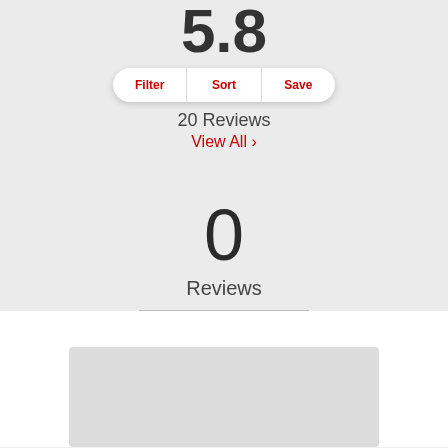5.8
Filter  Sort  Save
20 Reviews
View All >
0
Reviews
[Figure (other): Gray placeholder image block at bottom of page]